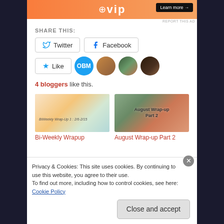[Figure (screenshot): WordPress VIP advertisement banner with orange gradient background, WP logo, and Learn more button]
REPORT THIS AD
SHARE THIS:
Twitter  Facebook  Like
4 bloggers like this.
[Figure (photo): Bi-Weekly Wrapup thumbnail showing a planner spread]
Bi-Weekly Wrapup
[Figure (photo): August Wrap-up Part 2 thumbnail showing floral background]
August Wrap-up Part 2
Privacy & Cookies: This site uses cookies. By continuing to use this website, you agree to their use.
To find out more, including how to control cookies, see here: Cookie Policy
Close and accept